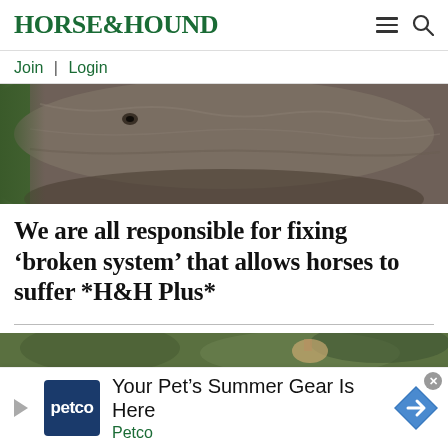HORSE&HOUND
Join | Login
[Figure (photo): Close-up photo of a dark grey horse's back/mane from above, with blurred green foliage in the background]
We are all responsible for fixing ‘broken system’ that allows horses to suffer *H&H Plus*
[Figure (photo): Partial view of outdoor scene with trees and a horse, appearing at the bottom of the page]
Your Pet’s Summer Gear Is Here
Petco